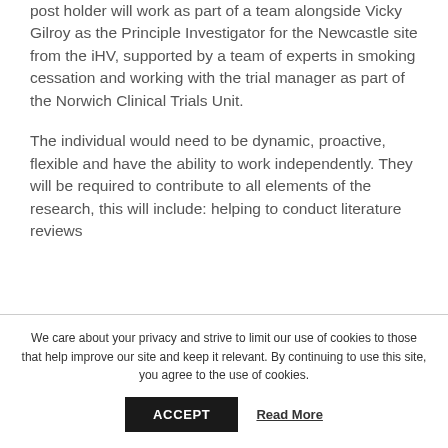post holder will work as part of a team alongside Vicky Gilroy as the Principle Investigator for the Newcastle site from the iHV, supported by a team of experts in smoking cessation and working with the trial manager as part of the Norwich Clinical Trials Unit.
The individual would need to be dynamic, proactive, flexible and have the ability to work independently. They will be required to contribute to all elements of the research, this will include: helping to conduct literature reviews
We care about your privacy and strive to limit our use of cookies to those that help improve our site and keep it relevant. By continuing to use this site, you agree to the use of cookies.
ACCEPT
Read More